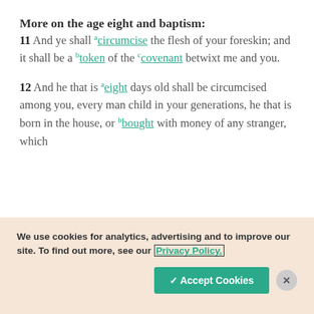More on the age eight and baptism:
11 And ye shall [a]circumcise the flesh of your foreskin; and it shall be a [b]token of the [c]covenant betwixt me and you.
12 And he that is [a]eight days old shall be circumcised among you, every man child in your generations, he that is born in the house, or [b]bought with money of any stranger, which
We use cookies for analytics, advertising and to improve our site. To find out more, see our Privacy Policy.